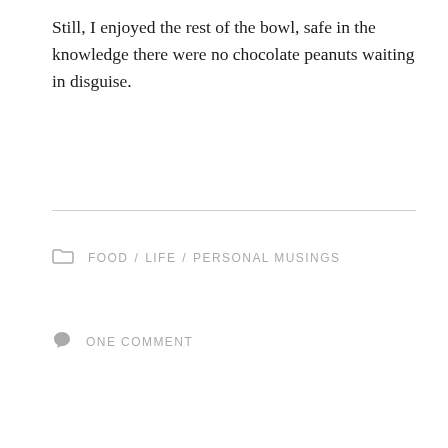Still, I enjoyed the rest of the bowl, safe in the knowledge there were no chocolate peanuts waiting in disguise.
FOOD / LIFE / PERSONAL MUSINGS
ONE COMMENT